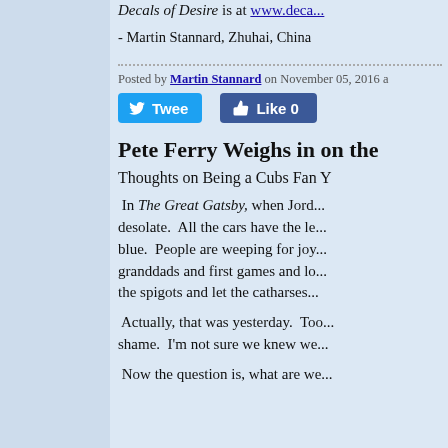Decals of Desire is at www.deca...
- Martin Stannard, Zhuhai, China
Posted by Martin Stannard on November 05, 2016 a
[Figure (screenshot): Twitter Tweet button and Facebook Like 0 button]
Pete Ferry Weighs in on the
Thoughts on Being a Cubs Fan Y
In The Great Gatsby, when Jord... desolate. All the cars have the le... blue. People are weeping for joy... granddads and first games and lo... the spigots and let the catharses...
Actually, that was yesterday. Too... shame. I'm not sure we knew we...
Now the question is, what are we...